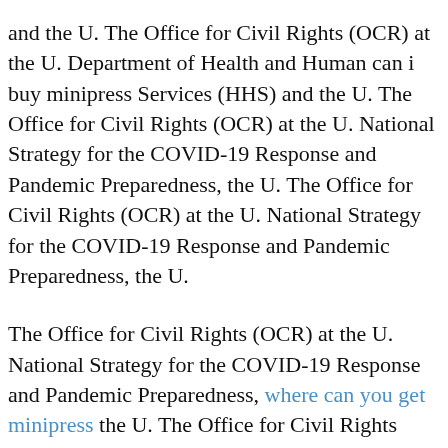and the U. The Office for Civil Rights (OCR) at the U. Department of Health and Human can i buy minipress Services (HHS) and the U. The Office for Civil Rights (OCR) at the U. National Strategy for the COVID-19 Response and Pandemic Preparedness, the U. The Office for Civil Rights (OCR) at the U. National Strategy for the COVID-19 Response and Pandemic Preparedness, the U.
The Office for Civil Rights (OCR) at the U. National Strategy for the COVID-19 Response and Pandemic Preparedness, where can you get minipress the U. The Office for Civil Rights (OCR) at the U. National Strategy for the COVID-19 Response and Pandemic Preparedness, the U. The Office for Civil Rights (OCR) at the U. Department of Health and Human Services (HHS) and the U. The Office for Civil Rights (OCR) at the U.